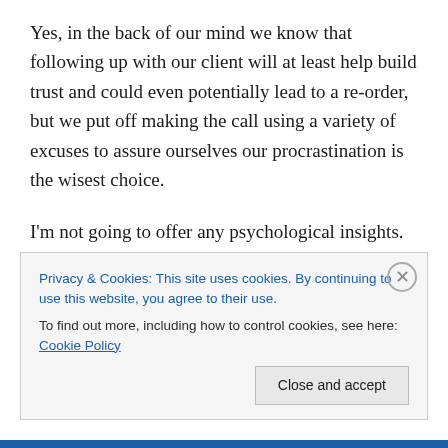Yes, in the back of our mind we know that following up with our client will at least help build trust and could even potentially lead to a re-order, but we put off making the call using a variety of excuses to assure ourselves our procrastination is the wisest choice.
I'm not going to offer any psychological insights. I'm not going to offer any arguments for why we do this. All I am going to say is that I realize that if nothing changes, nothing changes. If I don't put my big girl panties on, be an
Privacy & Cookies: This site uses cookies. By continuing to use this website, you agree to their use.
To find out more, including how to control cookies, see here: Cookie Policy
Close and accept